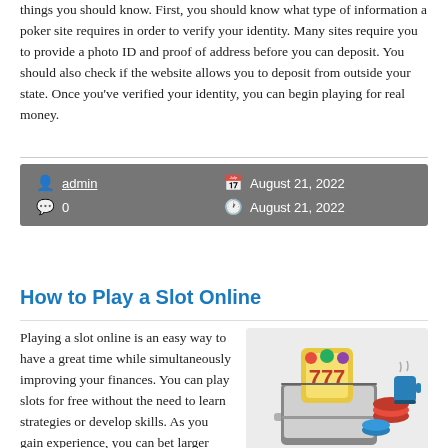things you should know. First, you should know what type of information a poker site requires in order to verify your identity. Many sites require you to provide a photo ID and proof of address before you can deposit. You should also check if the website allows you to deposit from outside your state. Once you've verified your identity, you can begin playing for real money.
admin | 0 | August 21, 2022 | August 21, 2022
How to Play a Slot Online
[Figure (illustration): Illustration of a laptop with a slot machine showing 777, casino chips, and a coffee cup]
Playing a slot online is an easy way to have a great time while simultaneously improving your finances. You can play slots for free without the need to learn strategies or develop skills. As you gain experience, you can bet larger amounts and win larger rewards. Beginners should start with a small bet and gradually increase their stakes as they gain experience. This article will explain how to play a slot online. You can learn more about the game's features, payouts, and bonus features.
Evolution of slot machine gaming
The evolution of slot machine gaming began when Charles Fey created the Liberty Bell, a mechanical slot machine that laid the foundation for a world-wide industry. Today's slot machines have reels and symbols. They can be linked to higher super jackpots. This evolution of the slot machine has greatly increased the appeal of the game. However, a few important things remain the same. These include a variety of themes, the use of different